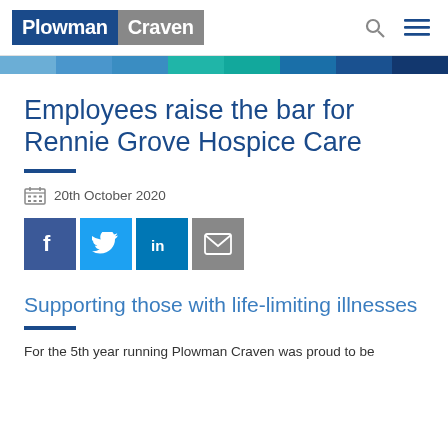Plowman Craven
[Figure (infographic): Colored horizontal strip banner with multiple shades of blue and teal]
Employees raise the bar for Rennie Grove Hospice Care
20th October 2020
[Figure (infographic): Social media share buttons: Facebook, Twitter, LinkedIn, Email]
Supporting those with life-limiting illnesses
For the 5th year running Plowman Craven was proud to be